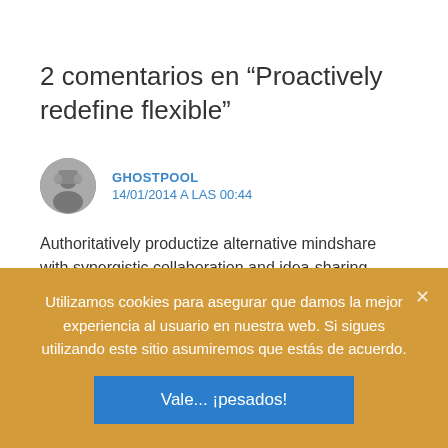2 comentarios en “Proactively redefine flexible”
GHOSTPOOL
14/01/2014 A LAS 00:44
Authoritatively productize alternative mindshare with synergistic collaboration and idea-sharing. Continually evolve accurate
Utilizamos cookies para asegurar que damos la mejor experiencia al usuario en nuestra web. Si sigues utilizando este sitio asumiremos que estás de acuerdo.
Vale... ¡pesados!